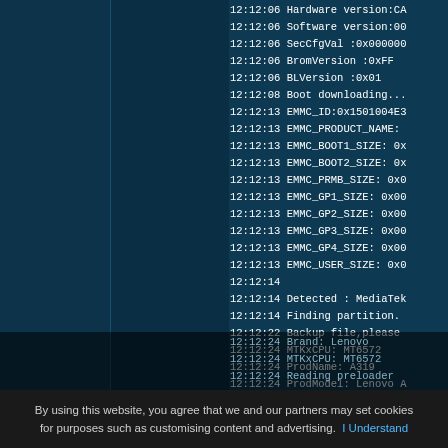[Figure (screenshot): Terminal/log output from a MediaTek flash tool showing device firmware and EMMC information. Left side shows dark blue panel columns. Right side shows monospaced white text log entries with timestamps starting at 12:12:06 through 12:12:24, listing hardware version, software version, SecCfgVal, BromVersion, BLVersion, Boot downloading, EMMC_ID, EMMC_PRODUCT_NAME, EMMC_BOOT1_SIZE, EMMC_BOOT2_SIZE, EMMC_PRMB_SIZE, EMMC_GP1_SIZE through GP4_SIZE, EMMC_USER_SIZE, Detected MediaTek, Finding partition, Backup file, MTKxCPU: MT6572, ProdName: A319, ProdModel: Lenovo A, Device: A319, AndroidVer: 4.4.2, Brand: Lenovo, Reading preloader.]
By using this website, you agree that we and our partners may set cookies for purposes such as customising content and advertising.  I Understand